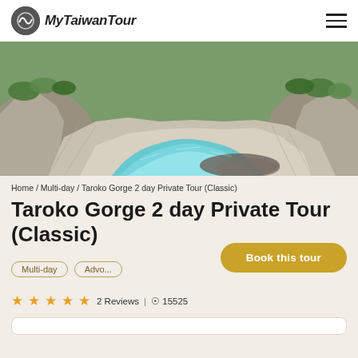MyTaiwanTour
[Figure (photo): Taroko Gorge scenic photo showing turquoise river winding through white marble rock formations with green vegetation on the cliffs above]
Home / Multi-day / Taroko Gorge 2 day Private Tour (Classic)
Taroko Gorge 2 day Private Tour (Classic)
Multi-day | Adventure
Book this tour
2 Reviews | 15525